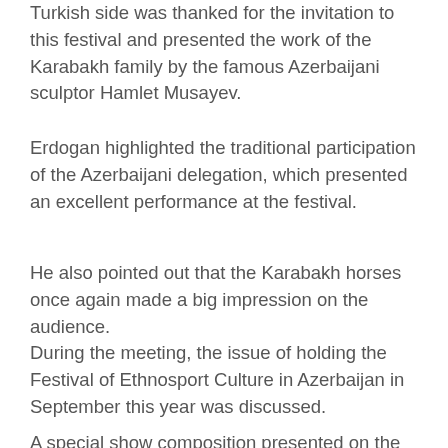Turkish side was thanked for the invitation to this festival and presented the work of the Karabakh family by the famous Azerbaijani sculptor Hamlet Musayev.
Erdogan highlighted the traditional participation of the Azerbaijani delegation, which presented an excellent performance at the festival.
He also pointed out that the Karabakh horses once again made a big impression on the audience.
During the meeting, the issue of holding the Festival of Ethnosport Culture in Azerbaijan in September this year was discussed.
A special show composition presented on the opening day of the festival by Azerbaijani participants on Karabakh horses, which are distinguished by their stunning beauty and are an important part of the ancient history and rich